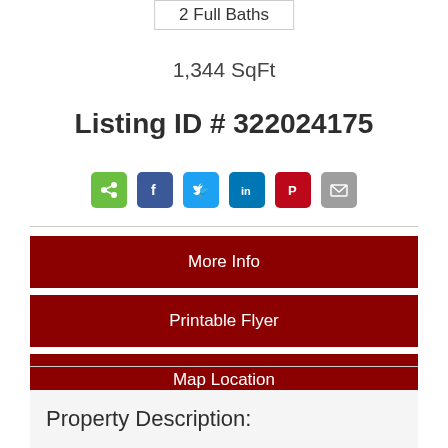2 Full Baths
1,344 SqFt
Listing ID # 322024175
[Figure (infographic): Row of social sharing icon buttons: share, Facebook, Twitter, LinkedIn, Pinterest, Email]
More Info
Printable Flyer
Map Location
Property Description: